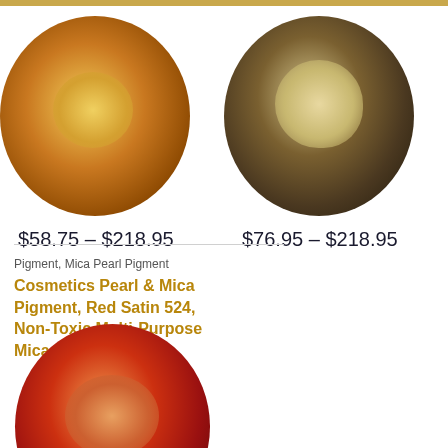[Figure (photo): Bowl of orange/amber mica powder pigment viewed from above, with lighter golden center highlight]
$58.75 – $218.95
[Figure (photo): Pile of dark brown mica powder with gold/beige center highlight viewed from above]
$76.95 – $218.95
Pigment, Mica Pearl Pigment
Cosmetics Pearl & Mica Pigment, Red Satin 524, Non-Toxic Multi-Purpose Mica
[Figure (photo): Bowl of red/orange-red mica pigment powder viewed from above with copper-toned center highlight]